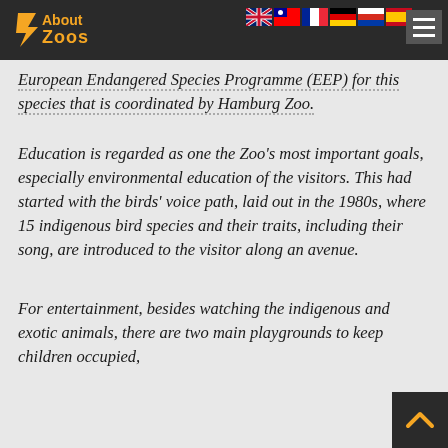About Zoos — navigation header with logo and language flags
European Endangered Species Programme (EEP) for this species that is coordinated by Hamburg Zoo.
Education is regarded as one the Zoo's most important goals, especially environmental education of the visitors. This had started with the birds' voice path, laid out in the 1980s, where 15 indigenous bird species and their traits, including their song, are introduced to the visitor along an avenue.
For entertainment, besides watching the indigenous and exotic animals, there are two main playgrounds to keep children occupied,